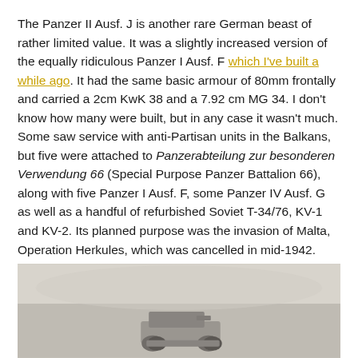The Panzer II Ausf. J is another rare German beast of rather limited value. It was a slightly increased version of the equally ridiculous Panzer I Ausf. F which I've built a while ago. It had the same basic armour of 80mm frontally and carried a 2cm KwK 38 and a 7.92 cm MG 34. I don't know how many were built, but in any case it wasn't much. Some saw service with anti-Partisan units in the Balkans, but five were attached to Panzerabteilung zur besonderen Verwendung 66 (Special Purpose Panzer Battalion 66), along with five Panzer I Ausf. F, some Panzer IV Ausf. G as well as a handful of refurbished Soviet T-34/76, KV-1 and KV-2. Its planned purpose was the invasion of Malta, Operation Herkules, which was cancelled in mid-1942. Afterwards the unit was split up and sent to Russia, with 2nd company (which contained all the odd stuff) ending up with Army Group Centre.
[Figure (photo): A black and white photograph showing what appears to be a tank or military vehicle, partially visible at the bottom of the page.]